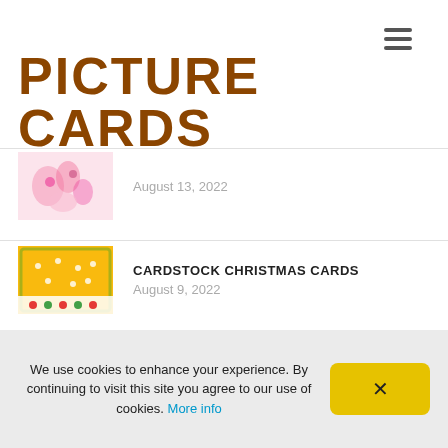≡
PICTURE CARDS
August 13, 2022
CARDSTOCK CHRISTMAS CARDS
August 9, 2022
MUSICAL CARDS FOR BIRTHDAY
August 5, 2022
We use cookies to enhance your experience. By continuing to visit this site you agree to our use of cookies. More info